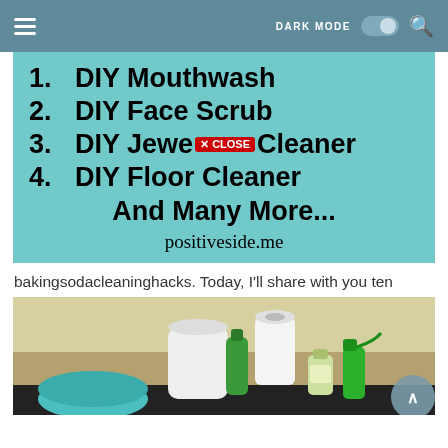☰   DARK MODE  🔍
[Figure (infographic): Teal background list graphic showing: 1. DIY Mouthwash, 2. DIY Face Scrub, 3. DIY Jewelry Cleaner (with CLOSE button overlay), 4. DIY Floor Cleaner, And Many More... positiveside.me]
bakingsodacleaninghacks. Today, I'll share with you ten
[Figure (photo): Photo of cleaning supplies including bottles, spray bottle, bowl, and paper towel roll on a countertop]